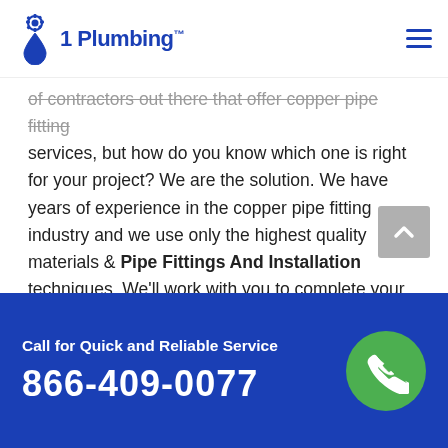1 Plumbing™
of contractors out there that offer copper pipe fitting services, but how do you know which one is right for your project? We are the solution. We have years of experience in the copper pipe fitting industry and we use only the highest quality materials & Pipe Fittings And Installation techniques. We'll work with you to complete your project on time and on budget.
Water Pipe Fittings in New Baltimore, MI
A lot of people don't have easy access to the fittings and materials they need to install a water pipe system.
Call for Quick and Reliable Service
866-409-0077